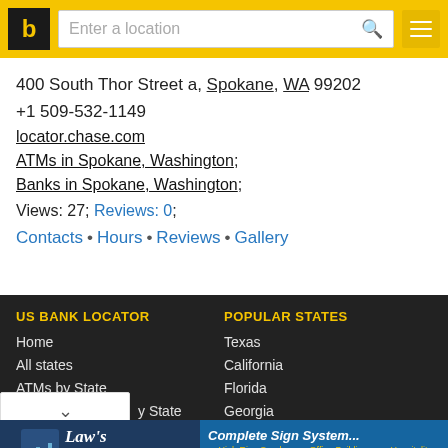Enter a location
400 South Thor Street a, Spokane, WA 99202
+1 509-532-1149
locator.chase.com
ATMs in Spokane, Washington;
Banks in Spokane, Washington;
Views: 27; Reviews: 0;
Contacts • Hours • Reviews • Gallery
US BANK LOCATOR
Home
All states
ATMs by State
POPULAR STATES
Texas
California
Florida
Georgia
[Figure (screenshot): Advertisement banner for Law's Architectural Signs and Complete Sign Systems]